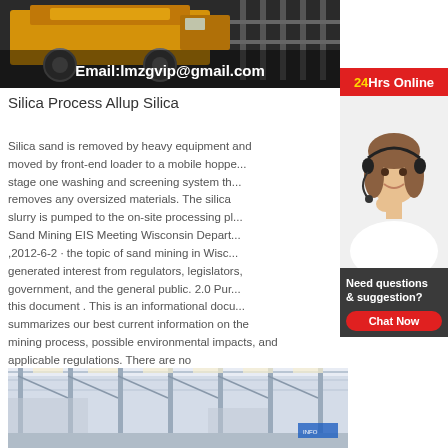[Figure (photo): Yellow heavy mining equipment / machinery in industrial warehouse setting, with text overlay 'Email:lmzgvip@gmail.com']
[Figure (infographic): Red banner reading '24Hrs Online' above a photo of a smiling female customer service agent wearing a headset]
Silica Process Allup Silica
Silica sand is removed by heavy equipment and moved by front-end loader to a mobile hopper, stage one washing and screening system that removes any oversized materials. The silica slurry is pumped to the on-site processing pl... Sand Mining EIS Meeting Wisconsin Depart... ,2012-6-2 · the topic of sand mining in Wisc... generated interest from regulators, legislators, government, and the general public. 2.0 Pur... this document . This is an informational docu... summarizes our best current information on the mining process, possible environmental impacts, and applicable regulations. There are no
[Figure (infographic): Dark grey box with text 'Need questions & suggestion?' and a red oval 'Chat Now' button]
[Figure (photo): Interior of an industrial warehouse or processing facility with steel roof trusses and large open space]